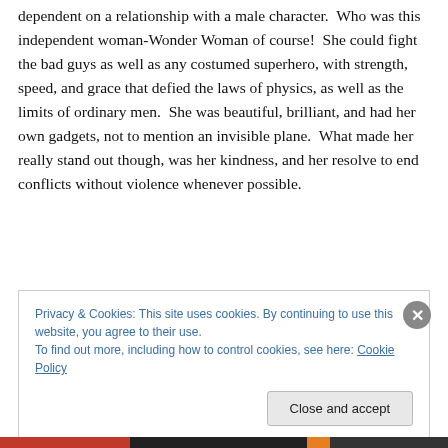dependent on a relationship with a male character.  Who was this independent woman-Wonder Woman of course!  She could fight the bad guys as well as any costumed superhero, with strength, speed, and grace that defied the laws of physics, as well as the limits of ordinary men.  She was beautiful, brilliant, and had her own gadgets, not to mention an invisible plane.  What made her really stand out though, was her kindness, and her resolve to end conflicts without violence whenever possible.
Privacy & Cookies: This site uses cookies. By continuing to use this website, you agree to their use.
To find out more, including how to control cookies, see here: Cookie Policy
Close and accept